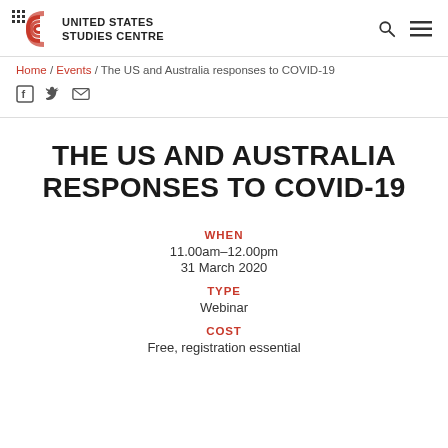UNITED STATES STUDIES CENTRE
Home / Events / The US and Australia responses to COVID-19
THE US AND AUSTRALIA RESPONSES TO COVID-19
WHEN
11.00am–12.00pm
31 March 2020
TYPE
Webinar
COST
Free, registration essential